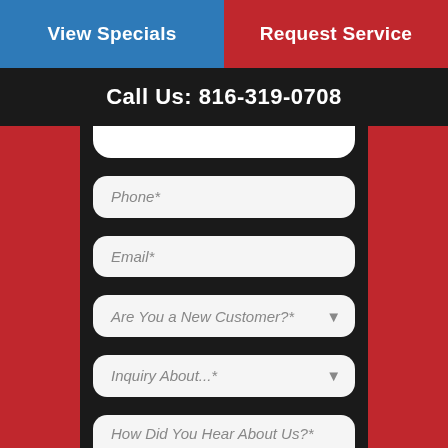View Specials
Request Service
Call Us: 816-319-0708
Phone*
Email*
Are You a New Customer?*
Inquiry About...*
How Did You Hear About Us?*